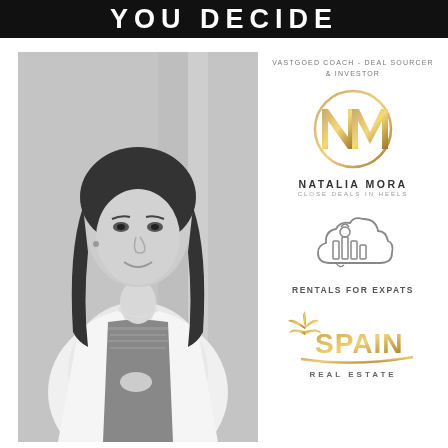YOU DECIDE
[Figure (photo): Black and white portrait photo of Natalia Mora, a woman with long dark wavy hair, wearing a white blazer over a patterned dress, smiling at camera]
VASTGOED COACH - DEAL SOURCER & INVESTOR
[Figure (logo): NM monogram logo in gold with a circular ring, for Natalia Mora - Close Deals In Heels brand]
NATALIA MORA
CLOSE DEALS IN HEELS
[Figure (logo): Rentals For Expats logo showing a stylized building with arches inside a cloud shape]
RENTALS FOR EXPATS
[Figure (logo): Spain Real Estate logo with a palm tree and gold cursive text]
REAL ESTATE